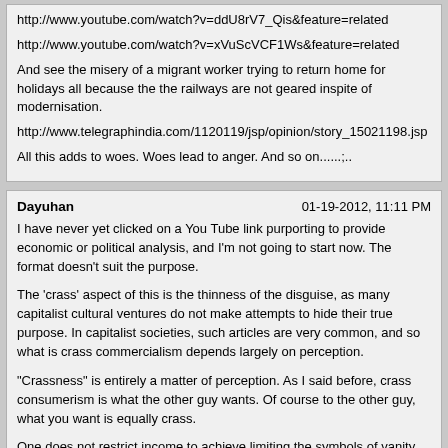http://www.youtube.com/watch?v=ddU8rV7_Qis&feature=related
http://www.youtube.com/watch?v=xVuScVCF1Ws&feature=related
And see the misery of a migrant worker trying to return home for holidays all because the the railways are not geared inspite of modernisation.
http://www.telegraphindia.com/1120119/jsp/opinion/story_15021198.jsp
All this adds to woes. Woes lead to anger. And so on......;..
Dayuhan
01-19-2012, 11:11 PM
I have never yet clicked on a You Tube link purporting to provide economic or political analysis, and I'm not going to start now. The format doesn't suit the purpose.
The 'crass' aspect of this is the thinness of the disguise, as many capitalist cultural ventures do not make attempts to hide their true purpose. In capitalist societies, such articles are very common, and so what is crass commercialism depends largely on perception.
"Crassness" is entirely a matter of perception. As I said before, crass consumerism is what the other guy wants. Of course to the other guy, what you want is equally crass.
One does not restrict income to achieve limiting the symbols of vanity that creates a social discontent (and that is important for nations emerging with baby steps from the shadow of command economies i.e. State controlled economies). One merely increases the prices through taxation (which will go to the State coffers and help generate faster movement towards a market driven economy and narrowing the gap between social order). It would be something on the lines of heavy taxation on cigarettes in the UK to discourage smoking. Of course, there are possibly many other ways too!